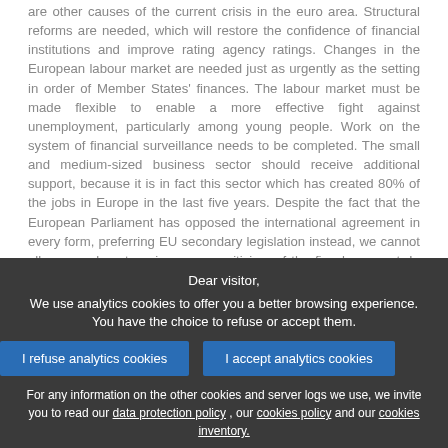are other causes of the current crisis in the euro area. Structural reforms are needed, which will restore the confidence of financial institutions and improve rating agency ratings. Changes in the European labour market are needed just as urgently as the setting in order of Member States' finances. The labour market must be made flexible to enable a more effective fight against unemployment, particularly among young people. Work on the system of financial surveillance needs to be completed. The small and medium-sized business sector should receive additional support, because it is in fact this sector which has created 80% of the jobs in Europe in the last five years. Despite the fact that the European Parliament has opposed the international agreement in every form, preferring EU secondary legislation instead, we cannot allow ourselves to voice severe criticism of the fiscal compact. In supporting this document we will give a clear signal to those outside the EU that the Union is
Dear visitor,
We use analytics cookies to offer you a better browsing experience. You have the choice to refuse or accept them.
For any information on the other cookies and server logs we use, we invite you to read our data protection policy , our cookies policy and our cookies inventory.